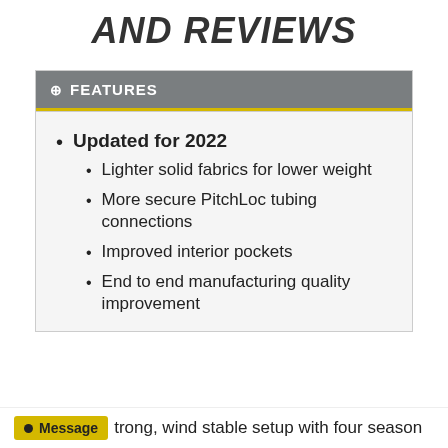AND REVIEWS
FEATURES
Updated for 2022
Lighter solid fabrics for lower weight
More secure PitchLoc tubing connections
Improved interior pockets
End to end manufacturing quality improvement
trong, wind stable setup with four season